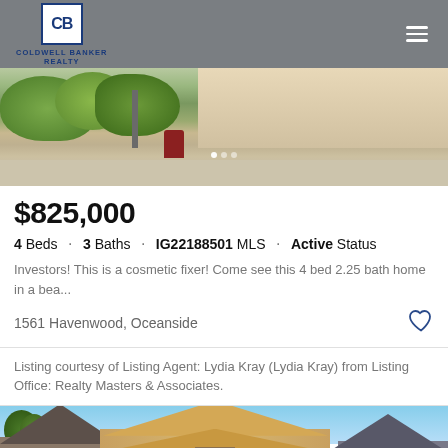Coldwell Banker Realty
[Figure (photo): Exterior street view of residential property with shrubs and landscaping]
$825,000
4 Beds · 3 Baths · IG22188501 MLS · Active Status
Investors! This is a cosmetic fixer! Come see this 4 bed 2.25 bath home in a bea...
1561 Havenwood, Oceanside
Listing courtesy of Listing Agent: Lydia Kray (Lydia Kray) from Listing Office: Realty Masters & Associates.
[Figure (photo): Exterior view of residential houses with peaked roofs and siding]